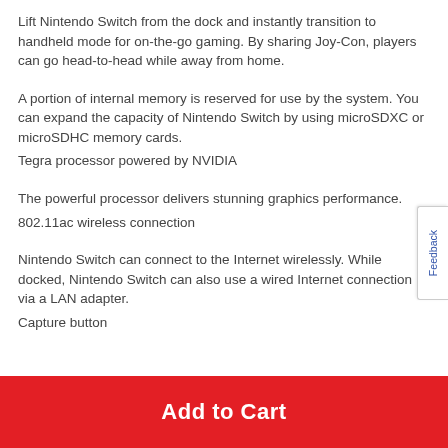Lift Nintendo Switch from the dock and instantly transition to handheld mode for on-the-go gaming. By sharing Joy-Con, players can go head-to-head while away from home.
A portion of internal memory is reserved for use by the system. You can expand the capacity of Nintendo Switch by using microSDXC or microSDHC memory cards.
Tegra processor powered by NVIDIA
The powerful processor delivers stunning graphics performance.
802.11ac wireless connection
Nintendo Switch can connect to the Internet wirelessly. While docked, Nintendo Switch can also use a wired Internet connection via a LAN adapter.
Capture button
Add to Cart